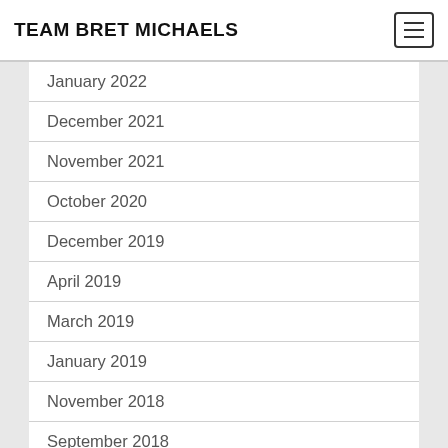TEAM BRET MICHAELS
January 2022
December 2021
November 2021
October 2020
December 2019
April 2019
March 2019
January 2019
November 2018
September 2018